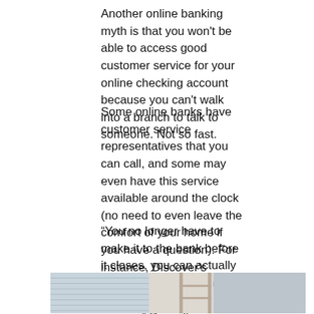Another online banking myth is that you won't be able to access good customer service for your online checking account because you can't walk into a branch to talk to someone. Not so fast.
Some online banks have customer service representatives that you can call, and some may even have this service available around the clock (no need to even leave the comfort of your home if you have a question). For instance, Discover's customer service is available 24/7.
“You no longer have to make it to the bank before it closes, you can actually contact the bank in the evening and get an answer,” Russell says.
[Figure (photo): A woman sitting at a desk, talking on the phone, with a bookshelf/shelving unit in the background and a window with blinds to the left.]